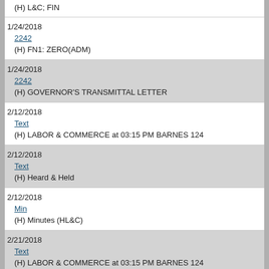(H) L&C, FIN
1/24/2018
2242
(H) FN1: ZERO(ADM)
1/24/2018
2242
(H) GOVERNOR'S TRANSMITTAL LETTER
2/12/2018
Text
(H) LABOR & COMMERCE at 03:15 PM BARNES 124
2/12/2018
Text
(H) Heard & Held
2/12/2018
Min
(H) Minutes (HL&C)
2/21/2018
Text
(H) LABOR & COMMERCE at 03:15 PM BARNES 124
2/21/2018
Text
...